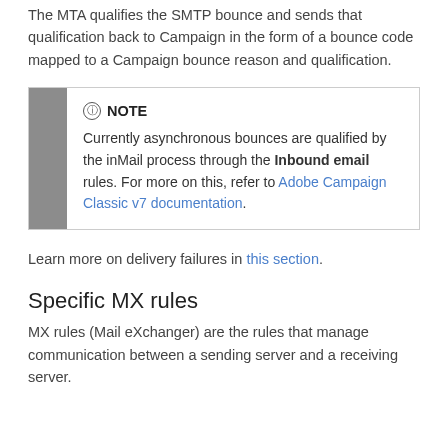The MTA qualifies the SMTP bounce and sends that qualification back to Campaign in the form of a bounce code mapped to a Campaign bounce reason and qualification.
NOTE
Currently asynchronous bounces are qualified by the inMail process through the Inbound email rules. For more on this, refer to Adobe Campaign Classic v7 documentation.
Learn more on delivery failures in this section.
Specific MX rules
MX rules (Mail eXchanger) are the rules that manage communication between a sending server and a receiving server.